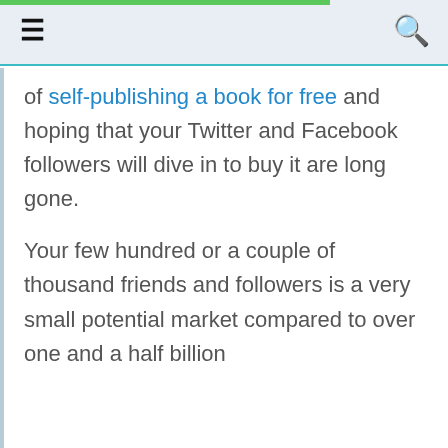≡   🔍
of self-publishing a book for free and hoping that your Twitter and Facebook followers will dive in to buy it are long gone.

Your few hundred or a couple of thousand friends and followers is a very small potential market compared to over one and a half billion
GDPR & CCPA privacy. We use cookies on our website to give you the most relevant experience by remembering your preferences and repeat visits. By clicking "Accept", you consent to the use of ALL the cookies. Cookie Policy
.
Cookie settings   ACCEPT